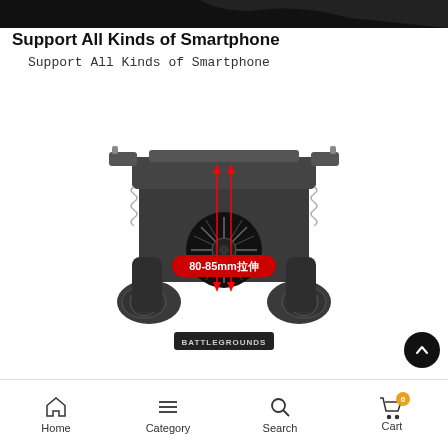[Figure (photo): Top dark bar image strip showing partial view of a gaming controller]
Support All Kinds of Smartphone
Support All Kinds of Smartphone
[Figure (photo): Photo of a BATTLEGROUNDS mobile gaming controller/gamepad with cooling fan, trigger buttons, and a red label showing '80-85mm拉伸' with measurement arrows indicating the width range of 80-85mm]
Home  Category  Search  Cart